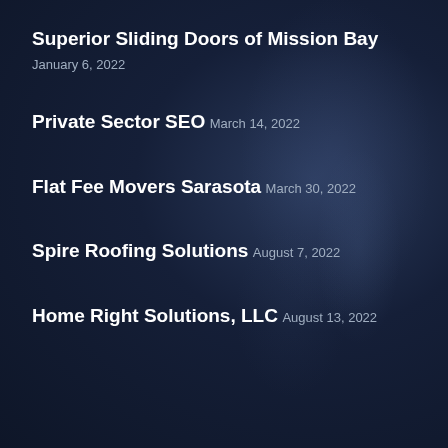Superior Sliding Doors of Mission Bay
January 6, 2022
Private Sector SEO
March 14, 2022
Flat Fee Movers Sarasota
March 30, 2022
Spire Roofing Solutions
August 7, 2022
Home Right Solutions, LLC
August 13, 2022